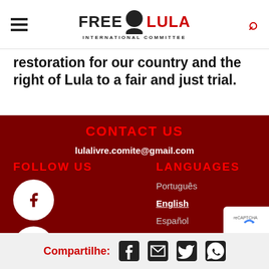FREE LULA INTERNATIONAL COMMITTEE
restoration for our country and the right of Lula to a fair and just trial.
CONTACT US
lulalivre.comite@gmail.com
FOLLOW US
LANGUAGES
Português
English
Español
Français
Compartilhe: